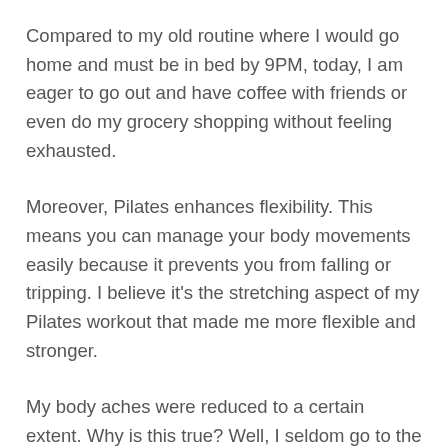Compared to my old routine where I would go home and must be in bed by 9PM, today, I am eager to go out and have coffee with friends or even do my grocery shopping without feeling exhausted.
Moreover, Pilates enhances flexibility. This means you can manage your body movements easily because it prevents you from falling or tripping. I believe it's the stretching aspect of my Pilates workout that made me more flexible and stronger.
My body aches were reduced to a certain extent. Why is this true? Well, I seldom go to the spa clinic now for a body massage. I used to put hot packs on my back for some relief. Now they're just gathering dust in the shelf as I can't remember the last time I used them.
I welcomed Pilates in my life a year ago with open arms and the hurdles of the first months are just part of it. Like I said, there are